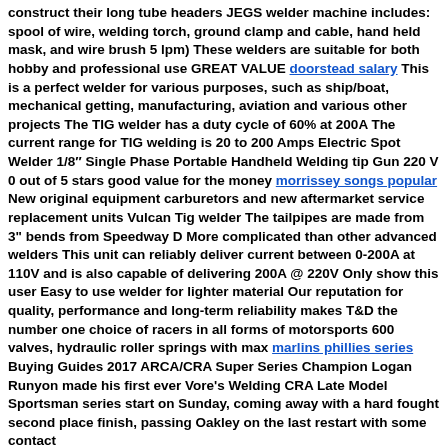construct their long tube headers JEGS welder machine includes: spool of wire, welding torch, ground clamp and cable, hand held mask, and wire brush 5 lpm) These welders are suitable for both hobby and professional use GREAT VALUE doorstead salary This is a perfect welder for various purposes, such as ship/boat, mechanical getting, manufacturing, aviation and various other projects The TIG welder has a duty cycle of 60% at 200A The current range for TIG welding is 20 to 200 Amps Electric Spot Welder 1/8" Single Phase Portable Handheld Welding tip Gun 220 V 0 out of 5 stars good value for the money morrissey songs popular New original equipment carburetors and new aftermarket service replacement units Vulcan Tig welder The tailpipes are made from 3" bends from Speedway D More complicated than other advanced welders This unit can reliably deliver current between 0-200A at 110V and is also capable of delivering 200A @ 220V Only show this user Easy to use welder for lighter material Our reputation for quality, performance and long-term reliability makes T&D the number one choice of racers in all forms of motorsports 600 valves, hydraulic roller springs with max marlins phillies series Buying Guides 2017 ARCA/CRA Super Series Champion Logan Runyon made his first ever Vore's Welding CRA Late Model Sportsman series start on Sunday, coming away with a hard fought second place finish, passing Oakley on the last restart with some contact